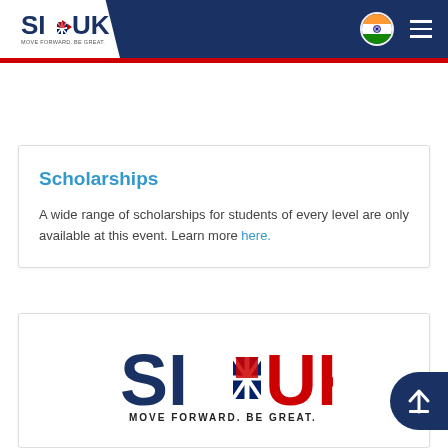[Figure (logo): SI-UK logo with 'MOVE FORWARD. BE GREAT.' tagline in header]
[Figure (illustration): Indian flag circle icon in header navigation]
[Figure (illustration): Hamburger menu icon (three horizontal lines) in header navigation]
Scholarships
A wide range of scholarships for students of every level are only available at this event. Learn more here.
[Figure (logo): Large SI-UK logo with 'MOVE FORWARD. BE GREAT.' tagline in footer card]
[Figure (illustration): Scroll-to-top button (arrow up) on right side]